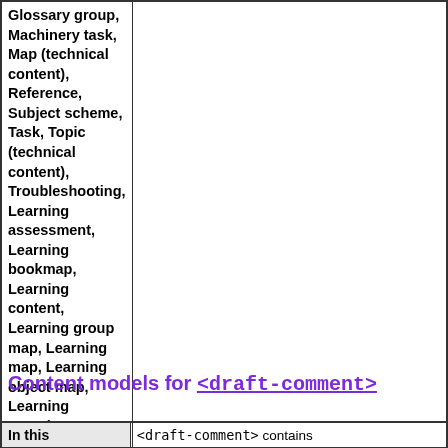|  |  |
| --- | --- |
| Glossary group, Machinery task, Map (technical content), Reference, Subject scheme, Task, Topic (technical content), Troubleshooting, Learning assessment, Learning bookmap, Learning content, Learning group map, Learning map, Learning object map, Learning overview, Learning plan, Learning summary |  |
Content models for <draft-comment>
| In this document type | <draft-comment> contains |
| --- | --- |